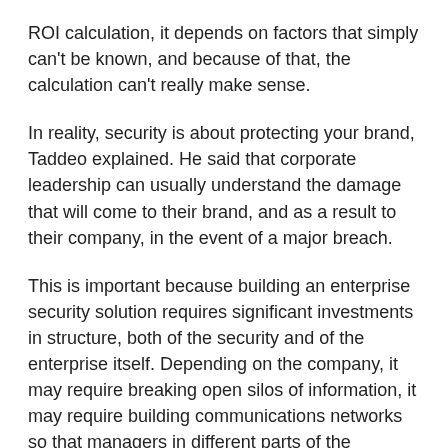ROI calculation, it depends on factors that simply can't be known, and because of that, the calculation can't really make sense.
In reality, security is about protecting your brand, Taddeo explained. He said that corporate leadership can usually understand the damage that will come to their brand, and as a result to their company, in the event of a major breach.
This is important because building an enterprise security solution requires significant investments in structure, both of the security and of the enterprise itself. Depending on the company, it may require breaking open silos of information, it may require building communications networks so that managers in different parts of the company can talk to each other, ar[obscured]nat a breach i[obscured]e at